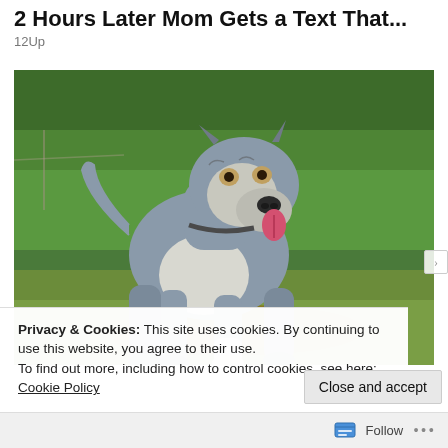2 Hours Later Mom Gets a Text That...
12Up
[Figure (photo): A large muscular pit bull dog with grey and white coloring, standing on a grassy lawn area, facing slightly right, with its tongue out. Dense green foliage and a fence visible in the background.]
Privacy & Cookies: This site uses cookies. By continuing to use this website, you agree to their use.
To find out more, including how to control cookies, see here:
Cookie Policy
Close and accept
Follow